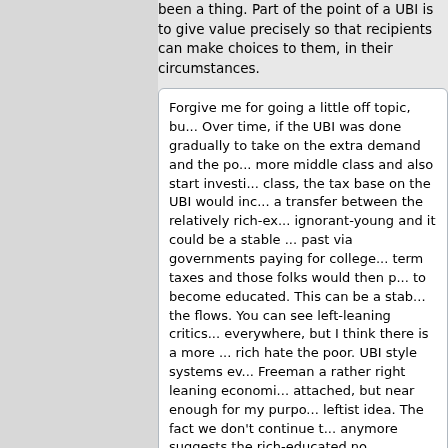been a thing. Part of the point of a UBI is to give value precisely so that recipients can make choices to them, in their circumstances.
Forgive me for going a little off topic, bu... Over time, if the UBI was done gradually to take on the extra demand and the po... more middle class and also start investi... class, the tax base on the UBI would inc... a transfer between the relatively rich-ex... ignorant-young and it could be a stable ... past via governments paying for college... term taxes and those folks would then p... to become educated. This can be a stab... the flows. You can see left-leaning critics... everywhere, but I think there is a more ... rich hate the poor. UBI style systems ev... Freeman a rather right leaning economi... attached, but near enough for my purpo... leftist idea. The fact we don't continue t... anymore suggests the rich-educated no... subsidizing the poor-ignorant to get edu... is that we just don't need that many edu... out David Graeber's work on BS jobs for... check out https://www.wired.com/2000/... [wired.com] Lastly, to give some credit ... (inflation adjusted) GDP growth from 19... depression) vs 1998 to 2018. In the 30-...